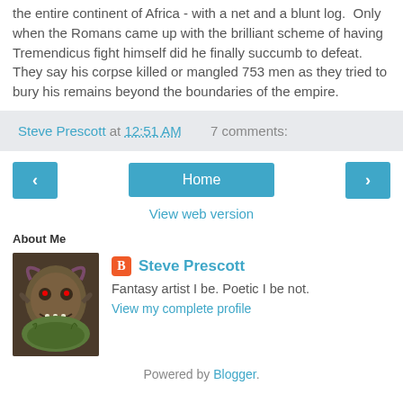the entire continent of Africa - with a net and a blunt log.  Only when the Romans came up with the brilliant scheme of having Tremendicus fight himself did he finally succumb to defeat.  They say his corpse killed or mangled 753 men as they tried to bury his remains beyond the boundaries of the empire.
Steve Prescott at 12:51 AM  7 comments:
‹  Home  ›
View web version
About Me
[Figure (illustration): Fantasy art portrait image of a monster creature]
Steve Prescott
Fantasy artist I be. Poetic I be not.
View my complete profile
Powered by Blogger.